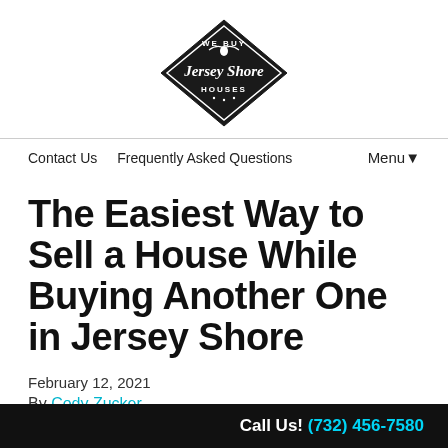[Figure (logo): We Buy Jersey Shore Houses diamond-shaped logo with seagull graphic]
Contact Us   Frequently Asked Questions   Menu▼
The Easiest Way to Sell a House While Buying Another One in Jersey Shore
February 12, 2021
By Cody Zucker
Call Us! (732) 456-7580